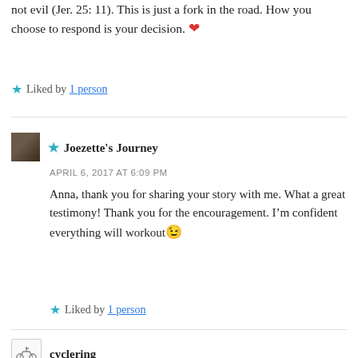not evil (Jer. 25: 11). This is just a fork in the road. How you choose to respond is your decision. ❤
★ Liked by 1 person
★ Joezette's Journey
APRIL 6, 2017 AT 6:09 PM
Anna, thank you for sharing your story with me. What a great testimony! Thank you for the encouragement. I'm confident everything will workout 😊
★ Liked by 1 person
cyclering
APRIL 5, 2017 AT 12:53 PM
I love your transparency and testimony. It is not what